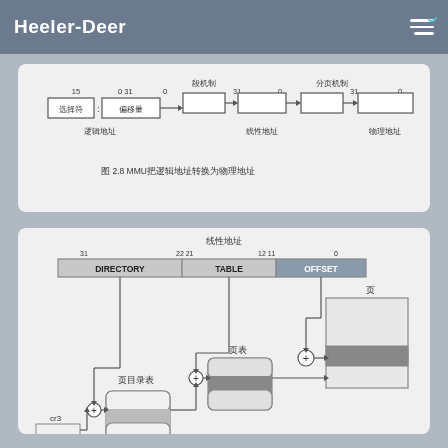Heeler-Deer
[Figure (engineering-diagram): MMU logical address to physical address conversion diagram showing: logical address with selector (15 to 0) and offset (31 to 0), going through segment mechanism producing linear address (31 to 0), then through paging mechanism producing physical address (31 to 0). Caption: 图2.8 MMU把逻辑地址转换为物理地址]
图 2.8  MMU把逻辑地址转换为物理地址
[Figure (engineering-diagram): Linear address (线性地址) breakdown diagram showing 32-bit address split into DIRECTORY (bits 31-22), TABLE (bits 22-11), and OFFSET (bits 11-0), with arrows showing page directory base register (cr3) feeding into page directory (页目录表) via addition, then to page table (页表) via addition, then OFFSET added to produce physical address pointing into a page (页).]